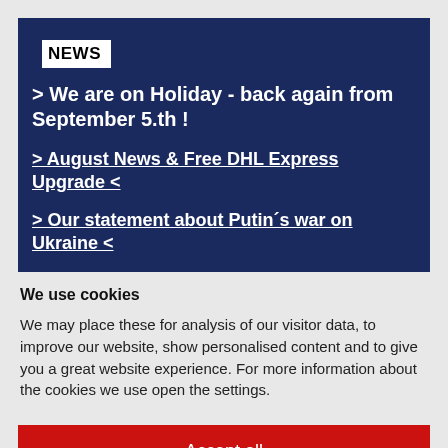NEWS
> We are on Holiday - back again from September 5.th !
> August News & Free DHL Express Upgrade <
> Our statement about Putin´s war on Ukraine <
We use cookies
We may place these for analysis of our visitor data, to improve our website, show personalised content and to give you a great website experience. For more information about the cookies we use open the settings.
Accept all
Deny
No, adjust